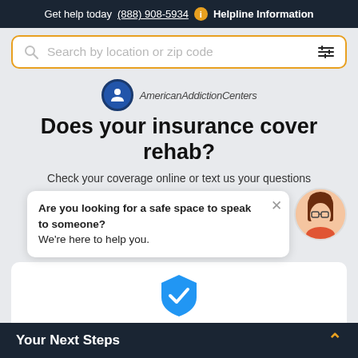Get help today (888) 908-5934  i  Helpline Information
Search by location or zip code
[Figure (logo): American Addiction Centers circular logo with person icon, followed by text 'AmericanAddictionCenters']
Does your insurance cover rehab?
Check your coverage online or text us your questions
Are you looking for a safe space to speak to someone?
We're here to help you.
[Figure (illustration): Blue shield with white checkmark icon]
Check Your Insurance
Your Next Steps